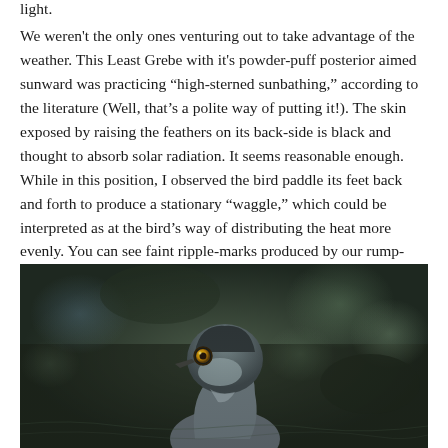light.
We weren't the only ones venturing out to take advantage of the weather. This Least Grebe with it's powder-puff posterior aimed sunward was practicing “high-sterned sunbathing,” according to the literature (Well, that’s a polite way of putting it!). The skin exposed by raising the feathers on its back-side is black and thought to absorb solar radiation. It seems reasonable enough. While in this position, I observed the bird paddle its feet back and forth to produce a stationary “waggle,” which could be interpreted as at the bird’s way of distributing the heat more evenly. You can see faint ripple-marks produced by our rump-warming friend in the photo above.
[Figure (photo): Close-up photograph of a Least Grebe bird head and neck, showing its distinctive yellow eye, dark gray plumage, and pointed beak. The bird is on water with a blurred dark background.]